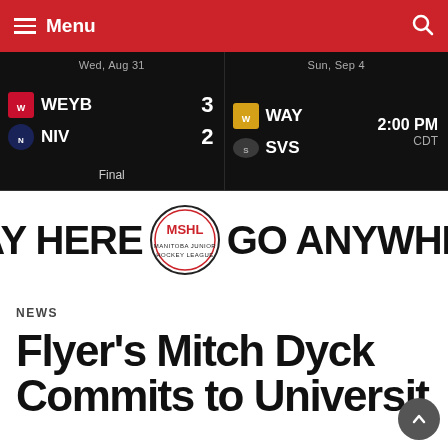Menu
| Date | Team | Score | Status | Date2 | Team2 | Time |
| --- | --- | --- | --- | --- | --- | --- |
| Wed, Aug 31 | WEYB | 3 | Final | Sun, Sep 4 | WAY | 2:00 PM CDT |
|  | NIV | 2 |  |  | SVS |  |
[Figure (logo): MSHL Play Here Go Anywhere banner with league logo in center]
NEWS
Flyer's Mitch Dyck Commits to University